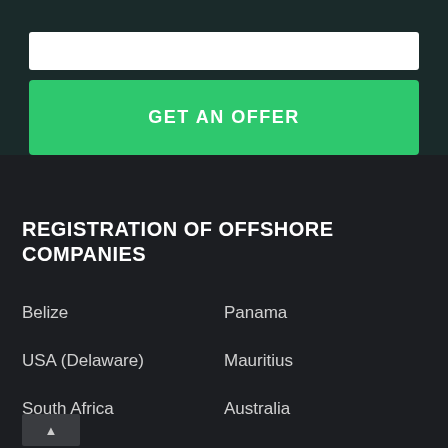[Figure (screenshot): White input bar at top of page]
GET AN OFFER
REGISTRATION OF OFFSHORE COMPANIES
Belize
Panama
USA (Delaware)
Mauritius
South Africa
Australia
Hong Kong
US (Oregon)